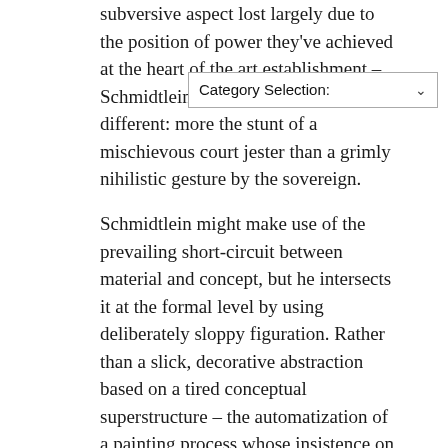subversive aspect lost largely due to the position of power they've achieved at the heart of the art establishment – Schmidtlein's exhibition feels quite different: more the stunt of a mischievous court jester than a grimly nihilistic gesture by the sovereign.
Schmidtlein might make use of the prevailing short-circuit between material and concept, but he intersects it at the formal level by using deliberately sloppy figuration. Rather than a slick, decorative abstraction based on a tired conceptual superstructure – the automatization of a painting process whose insistence on expressivity has long since ceased to be anything more than appearance – here are helpless, sad, ghostly figures that attempt, apparently without much success, to breathe new life into their tired, dirty bodies with cheap synthetic hygiene products. At the same time,